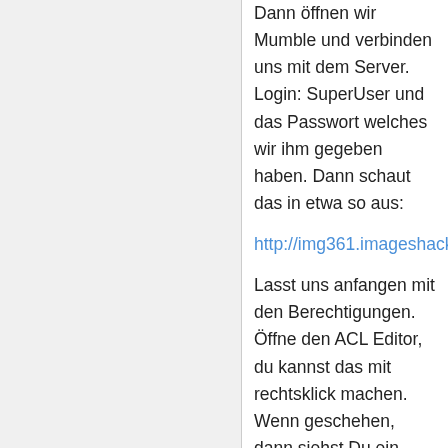Dann öffnen wir Mumble und verbinden uns mit dem Server. Login: SuperUser und das Passwort welches wir ihm gegeben haben. Dann schaut das in etwa so aus:
http://img361.imageshack.us/img361/6586/mumbletut1dx8.png
Lasst uns anfangen mit den Berechtigungen. Öffne den ACL Editor, du kannst das mit rechtsklick machen. Wenn geschehen, dann siehst Du ein Fenster mit zwei Tabs. Der erste dient der Gruppenadministration, wo man Benutzer Gruppen zuordnen kann, etc. Der zweite ordnet Berechtigungen den Gruppen zu.
In eben jenem ACL Tab (wo die